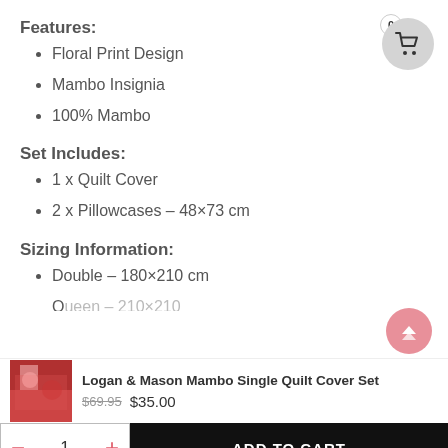Features:
Floral Print Design
Mambo Insignia
100% Mambo
Set Includes:
1 x Quilt Cover
2 x Pillowcases – 48×73 cm
Sizing Information:
Double – 180×210 cm
Logan & Mason Mambo Single Quilt Cover Set
$69.95  $35.00
– 1 +  ADD TO CART